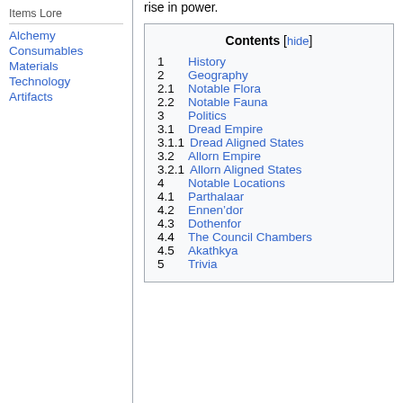rise in power.
Items Lore
Alchemy
Consumables
Materials
Technology
Artifacts
| 1 | History |
| 2 | Geography |
| 2.1 | Notable Flora |
| 2.2 | Notable Fauna |
| 3 | Politics |
| 3.1 | Dread Empire |
| 3.1.1 | Dread Aligned States |
| 3.2 | Allorn Empire |
| 3.2.1 | Allorn Aligned States |
| 4 | Notable Locations |
| 4.1 | Parthalaar |
| 4.2 | Ennen’dor |
| 4.3 | Dothenfor |
| 4.4 | The Council Chambers |
| 4.5 | Akathkya |
| 5 | Trivia |